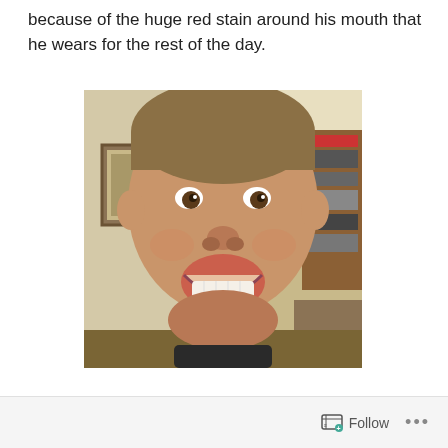because of the huge red stain around his mouth that he wears for the rest of the day.
[Figure (photo): Close-up photo of a young boy with a buzzed haircut, grinning widely showing his teeth, with a red stain around his mouth, taken indoors with a bookshelf and framed picture visible in the background.]
Follow ...